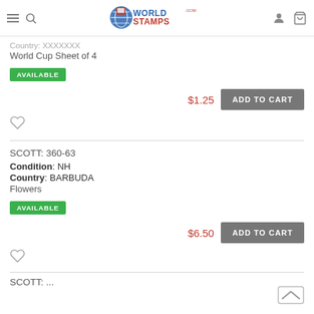WorldStamps.com
Country: XXXXXXX
World Cup Sheet of 4
AVAILABLE
$1.25 ADD TO CART
SCOTT: 360-63
Condition: NH
Country: BARBUDA
Flowers
AVAILABLE
$6.50 ADD TO CART
SCOTT: (partial)